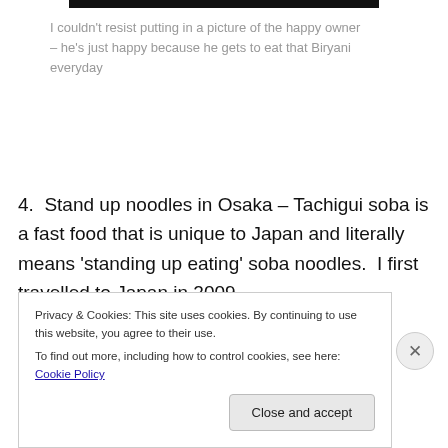[Figure (photo): Black bar at top representing the bottom edge of an image]
I couldn't resist putting in a picture of the happy owner – he's just happy because he gets to eat that Biryani everyday
4.  Stand up noodles in Osaka – Tachigui soba is a fast food that is unique to Japan and literally means 'standing up eating' soba noodles.  I first travelled to Japan in 2009 where my friends and I stumbled upon a tiny Tachigui soba
Privacy & Cookies: This site uses cookies. By continuing to use this website, you agree to their use.
To find out more, including how to control cookies, see here: Cookie Policy
Close and accept